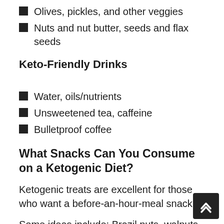Olives, pickles, and other veggies
Nuts and nut butter, seeds and flax seeds
Keto-Friendly Drinks
Water, oils/nutrients
Unsweetened tea, caffeine
Bulletproof coffee
What Snacks Can You Consume on a Ketogenic Diet?
Ketogenic treats are excellent for those who want a before-an-hour-meal snack.
Some ideas include: Brazil nuts, walnuts, hazelnuts, peanuts, coconut yogurt, guacamole, cheese, canned tuna, meat jerky, olives, pork rinds, seaweed, boiled eggs, avocado, etc.